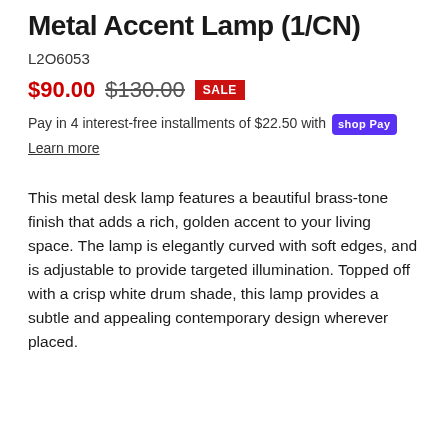Metal Accent Lamp (1/CN)
L2O6053
$90.00  $130.00  SALE
Pay in 4 interest-free installments of $22.50 with shop Pay
Learn more
This metal desk lamp features a beautiful brass-tone finish that adds a rich, golden accent to your living space. The lamp is elegantly curved with soft edges, and is adjustable to provide targeted illumination. Topped off with a crisp white drum shade, this lamp provides a subtle and appealing contemporary design wherever placed.